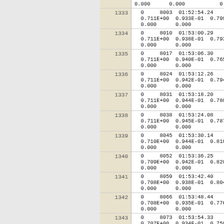| row_id | data |
| --- | --- |
| (top) | 0.000      0.000           0 |
| 1333 | 0     8003  01:52:54.24    0.8510A
0.711E+00  0.933E-01  0.799E-03
0.000      0.000           0 |
| 1334 | 0     8010  01:53:00.29    0.8690A
0.711E+00  0.938E-01  0.793E-03
0.000      0.000           0 |
| 1335 | 0     8017  01:53:06.30    0.8430A
0.711E+00  0.940E-01  0.765E-03
0.000      0.000           0 |
| 1336 | 0     8024  01:53:12.26    0.8650A
0.711E+00  0.942E-01  0.794E-03
0.000      0.000           0 |
| 1337 | 0     8031  01:53:18.20    0.8330A
0.711E+00  0.944E-01  0.780E-03
0.000      0.000           0 |
| 1338 | 0     8038  01:53:24.08    0.8440A
0.711E+00  0.945E-01  0.787E-03
0.000      0.000           0 |
| 1339 | 0     8045  01:53:30.14    0.8700A
0.710E+00  0.944E-01  0.810E-03
0.000      0.000           0 |
| 1340 | 0     8052  01:53:36.25    0.8810A
0.709E+00  0.942E-01  0.820E-03
0.000      0.000           0 |
| 1341 | 0     8059  01:53:42.40    0.8770A
0.708E+00  0.938E-01  0.804E-03
0.000      0.000           0 |
| 1342 | 0     8066  01:53:48.44    0.8540A
0.708E+00  0.935E-01  0.776E-03
0.000      0.000           0 |
| 1343 | 0     8073  01:53:54.33    0.8350A
0.707E+00  0.934E-01  0.758E-03
0.000      0.000           0 |
| 1344 | 0     8080  01:54:00.17    0.8330A
0.707E+00  0.935E-01  0.749E-03 |